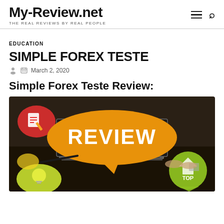My-Review.net — THE REAL REVIEWS BY REAL PEOPLE
EDUCATION
SIMPLE FOREX TESTE
March 2, 2020
Simple Forex Teste Review:
[Figure (photo): A promotional image with an orange speech bubble saying REVIEW in large white text, overlaid on a laptop and desk scene with colorful speech bubbles and a green TOP badge in the bottom right corner.]